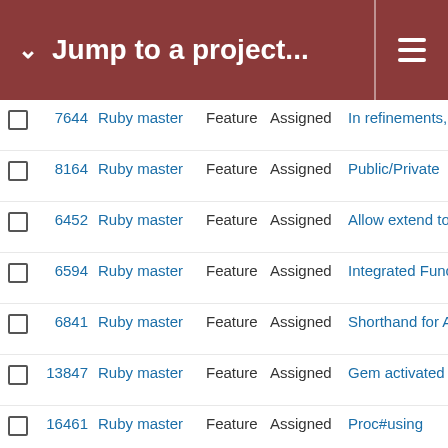Jump to a project...
|  | # | Project | Tracker | Status | Subject |
| --- | --- | --- | --- | --- | --- |
|  | 7644 | Ruby master | Feature | Assigned | In refinements, |
|  | 8164 | Ruby master | Feature | Assigned | Public/Private |
|  | 6452 | Ruby master | Feature | Assigned | Allow extend to |
|  | 6594 | Ruby master | Feature | Assigned | Integrated Func |
|  | 6841 | Ruby master | Feature | Assigned | Shorthand for A |
|  | 13847 | Ruby master | Feature | Assigned | Gem activated |
|  | 16461 | Ruby master | Feature | Assigned | Proc#using |
|  | 16937 | Ruby master | Feature | Assigned | Add DNS over |
|  | 6810 | Ruby master | Feature | Assigned | `module A::B; e (scope) |
|  | 17376 | Ruby master | Misc | Assigned | Reduce numbe |
|  | 8948 | Ruby master | Feature | Assigned | Frozen regex |